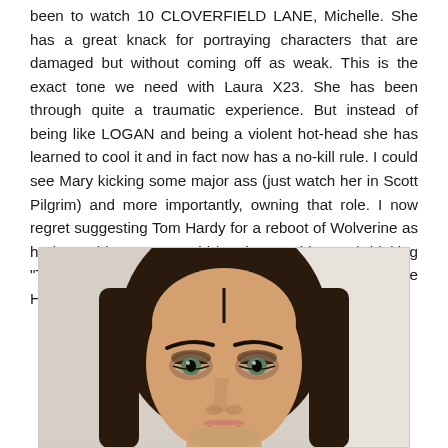been to watch 10 CLOVERFIELD LANE, Michelle. She has a great knack for portraying characters that are damaged but without coming off as weak. This is the exact tone we need with Laura X23. She has been through quite a traumatic experience. But instead of being like LOGAN and being a violent hot-head she has learned to cool it and in fact now has a no-kill rule. I could see Mary kicking some major ass (just watch her in Scott Pilgrim) and more importantly, owning that role. I now regret suggesting Tom Hardy for a reboot of Wolverine as he is too big now. I would just be watching and thinking "Tom Hardy is Wolverine". We need an unknown like Hugh was. Mary could be it.
[Figure (photo): Close-up photo of a young woman with long dark brown hair, green eyes, arched eyebrows, and smoky eye makeup. She is facing forward with a neutral expression against a light background.]